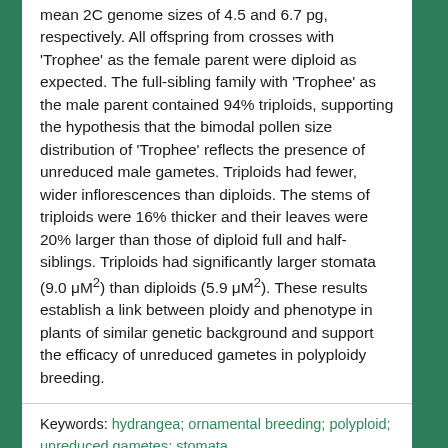mean 2C genome sizes of 4.5 and 6.7 pg, respectively. All offspring from crosses with 'Trophee' as the female parent were diploid as expected. The full-sibling family with 'Trophee' as the male parent contained 94% triploids, supporting the hypothesis that the bimodal pollen size distribution of 'Trophee' reflects the presence of unreduced male gametes. Triploids had fewer, wider inflorescences than diploids. The stems of triploids were 16% thicker and their leaves were 20% larger than those of diploid full and half-siblings. Triploids had significantly larger stomata (9.0 μM²) than diploids (5.9 μM²). These results establish a link between ploidy and phenotype in plants of similar genetic background and support the efficacy of unreduced gametes in polyploidy breeding.
Keywords: hydrangea; ornamental breeding; polyploid; unreduced gametes; stomata